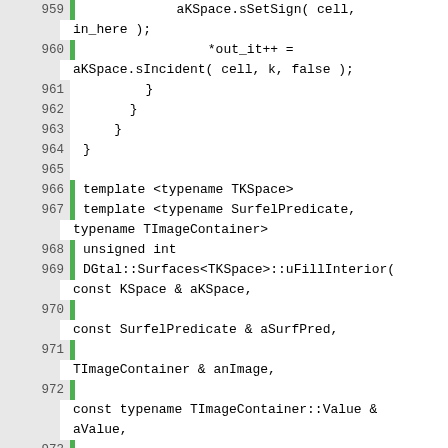Source code listing lines 959-980 showing C++ template code for DGtal::Surfaces::uFillInterior function